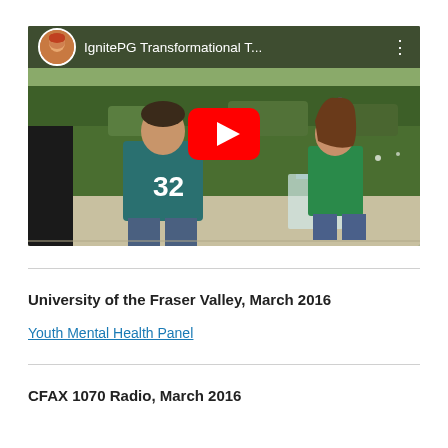[Figure (screenshot): YouTube video thumbnail showing 'IgnitePG Transformational T...' with two people outdoors near hedges, a woman in green at a podium and a man in a teal jersey with #32, with a red YouTube play button overlay and channel avatar in top-left corner.]
University of the Fraser Valley, March 2016
Youth Mental Health Panel
CFAX 1070 Radio, March 2016